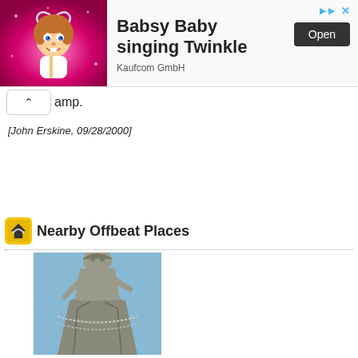[Figure (other): Advertisement banner with a cartoon baby character on pink background, text 'Babsy Baby singing Twinkle', company 'Kaufcom GmbH', and an Open button]
amp.
[John Erskine, 09/28/2000]
Nearby Offbeat Places
[Figure (photo): Photograph of a large bronze/stone statue of a woman viewed from below against a blue sky, with a beaded necklace or chain draped across it]